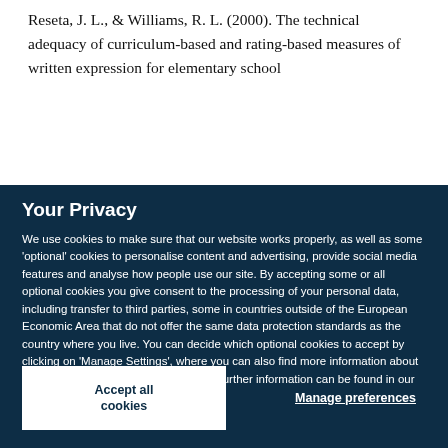Reseta, J. L., & Williams, R. L. (2000). The technical adequacy of curriculum-based and rating-based measures of written expression for elementary school
Your Privacy
We use cookies to make sure that our website works properly, as well as some 'optional' cookies to personalise content and advertising, provide social media features and analyse how people use our site. By accepting some or all optional cookies you give consent to the processing of your personal data, including transfer to third parties, some in countries outside of the European Economic Area that do not offer the same data protection standards as the country where you live. You can decide which optional cookies to accept by clicking on 'Manage Settings', where you can also find more information about how your personal data is processed. Further information can be found in our privacy policy.
Accept all cookies
Manage preferences